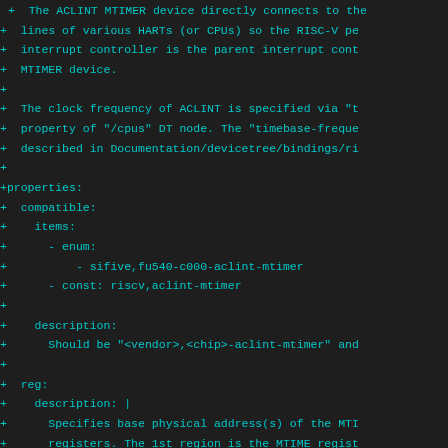+ The ACLINT MTIMER device directly connects to the
+ lines of various HARTs (or CPUs) so the RISC-V pe
+ interrupt controller is the parent interrupt cont
+ MTIMER device.
+
+ The clock frequency of ACLINT is specified via "t
+ property of "/cpus" DT node. The "timebase-freque
+ described in Documentation/devicetree/bindings/ri
+
+properties:
+  compatible:
+    items:
+      - enum:
+          - sifive,fu540-c000-aclint-mtimer
+      - const: riscv,aclint-mtimer
+
+    description:
+      Should be "<vendor>,<chip>-aclint-mtimer" and
+
+  reg:
+    description: |
+      Specifies base physical address(s) of the MTI
+      registers. The 1st region is the MTIME regist
+      region is the MTIMECMPx registers base and si
+    minItems: 2
+    maxItems: 2
+
+  interrupts-extended:
+    minItems: 1
+    maxItems: 4095
+